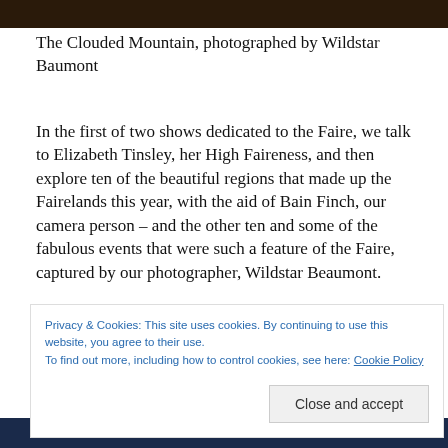[Figure (photo): Top portion of an outdoor photo, dark foliage/nature scene background]
The Clouded Mountain, photographed by Wildstar Baumont
In the first of two shows dedicated to the Faire, we talk to Elizabeth Tinsley, her High Faireness, and then explore ten of the beautiful regions that made up the Fairelands this year, with the aid of Bain Finch, our camera person – and the other ten and some of the fabulous events that were such a feature of the Faire, captured by our photographer, Wildstar Beaumont.
Privacy & Cookies: This site uses cookies. By continuing to use this website, you agree to their use.
To find out more, including how to control cookies, see here: Cookie Policy
[Figure (photo): Bottom strip of a colorful photo, blue and green tones, appears to be an outdoor event scene]